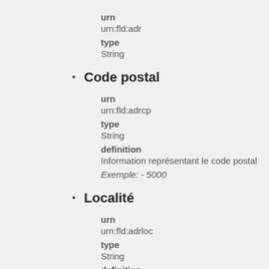urn
urn:fld:adr
type
String
Code postal
urn
urn:fld:adrcp
type
String
definition
Information représentant le code postal
Exemple: - 5000
Localité
urn
urn:fld:adrloc
type
String
definition
Information représentant la localité